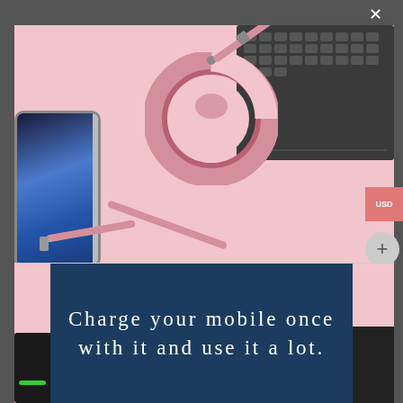[Figure (photo): Product photo of a pink retractable USB charging cable coiled in a circular spool, laid on a pink background next to a smartphone and a laptop keyboard. The cable has multiple connector tips visible.]
Charge your mobile once with it and use it a lot.